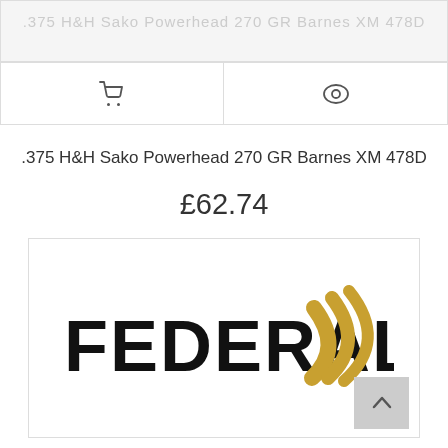.375 H&H Sako Powerhead 270 GR Barnes XM 478D
£62.74
[Figure (logo): Federal ammunition brand logo — bold black FEDERAL text with gold arc swoosh symbol to the right]